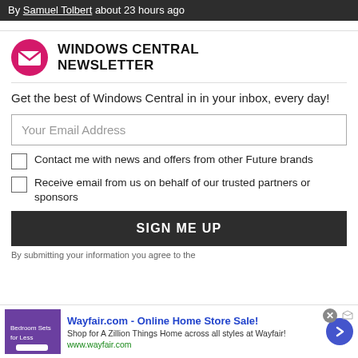By Samuel Tolbert about 23 hours ago
[Figure (logo): Windows Central Newsletter pink circle envelope icon]
WINDOWS CENTRAL NEWSLETTER
Get the best of Windows Central in in your inbox, every day!
Your Email Address
Contact me with news and offers from other Future brands
Receive email from us on behalf of our trusted partners or sponsors
SIGN ME UP
By submitting your information you agree to the
[Figure (infographic): Wayfair advertisement banner: Wayfair.com - Online Home Store Sale! Shop for A Zillion Things Home across all styles at Wayfair! www.wayfair.com]